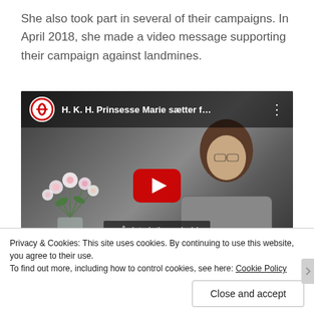She also took part in several of their campaigns. In April 2018, she made a video message supporting their campaign against landmines.
[Figure (screenshot): Embedded YouTube video thumbnail showing a woman (Princess Marie) sitting and speaking, with flowers on the left side. Video title: 'H. K. H. Prinsesse Marie sætter f…'. A large red YouTube play button is centered. Danish subtitle text visible: '- på det vigtige arbejde med at rydde miner']
Privacy & Cookies: This site uses cookies. By continuing to use this website, you agree to their use.
To find out more, including how to control cookies, see here: Cookie Policy
Close and accept